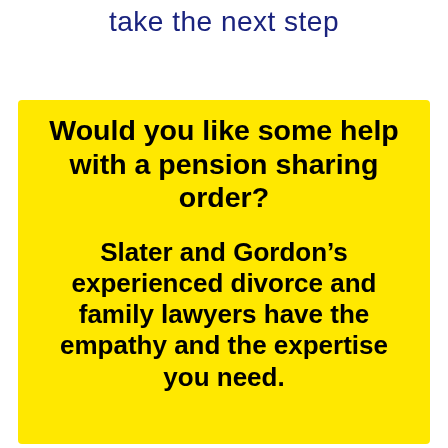take the next step
Would you like some help with a pension sharing order?

Slater and Gordon’s experienced divorce and family lawyers have the empathy and the expertise you need.